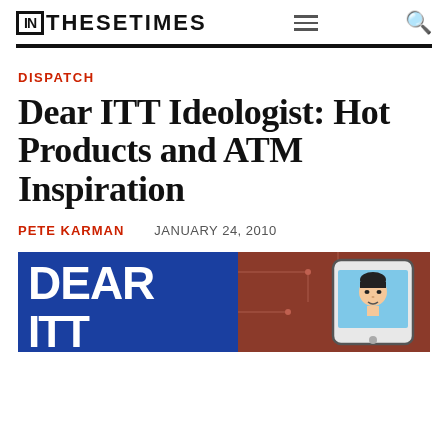IN THESE TIMES
DISPATCH
Dear ITT Ideologist: Hot Products and ATM Inspiration
PETE KARMAN   JANUARY 24, 2010
[Figure (illustration): Article header illustration with blue left panel showing 'DEAR' text in white and reddish-brown right panel showing cartoon figure with phone/device]